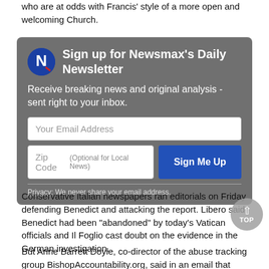who are at odds with Francis' style of a more open and welcoming Church.
[Figure (infographic): Newsmax Daily Newsletter sign-up box with logo, title, subtitle, email input, zip code input, Sign Me Up button, and privacy notice]
Conservative Italian newspapers ran editorials on Friday defending Benedict and attacking the report. Libero said Benedict had been "abandoned" by today's Vatican officials and Il Foglio cast doubt on the evidence in the German investigation.
But Anne Barrett Doyle, co-director of the abuse tracking group BishopAccountability.org, said in an email that Munich